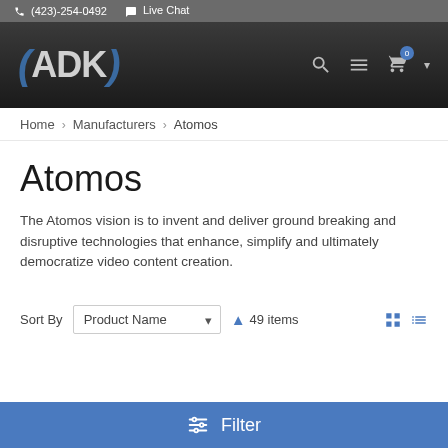(423)-254-0492  Live Chat
[Figure (logo): ADK logo with blue brackets on dark background, with search, menu, and cart icons]
Home > Manufacturers > Atomos
Atomos
The Atomos vision is to invent and deliver ground breaking and disruptive technologies that enhance, simplify and ultimately democratize video content creation.
Sort By  Product Name  ↑ 49 items
Filter